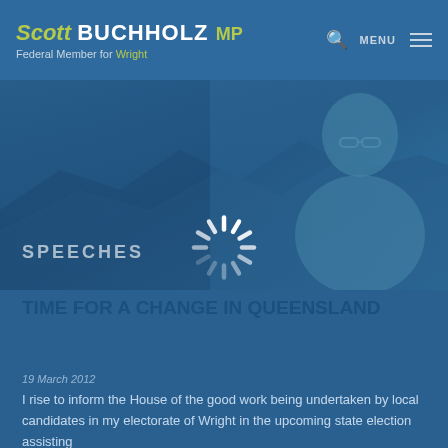Scott BUCHHOLZ MP — Federal Member for Wright
[Figure (photo): Hero banner with mountain landscape background and photo of Scott Buchholz MP on the right side, with 'SPEECHES' text overlay]
[Figure (other): Loading spinner (white dashed circle spinner animation)]
TIME FOR A CHANGE IN QUEENSLAND
19 March 2012
I rise to inform the House of the good work being undertaken by local candidates in my electorate of Wright in the upcoming state election assisting